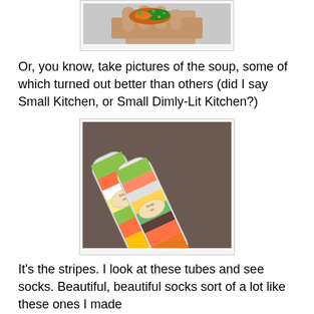[Figure (photo): Partial photo showing a hand holding something with orange/green toppings, cropped at top of page]
Or, you know, take pictures of the soup, some of which turned out better than others (did I say Small Kitchen, or Small Dimly-Lit Kitchen?)
[Figure (photo): Photo of two cylindrical clear tubes filled with layered colorful soup ingredients (green peas, white beans, orange lentils, yellow corn, etc.) displayed on a dark surface]
It's the stripes.  I look at these tubes and see socks. Beautiful, beautiful socks sort of a lot like these ones I made